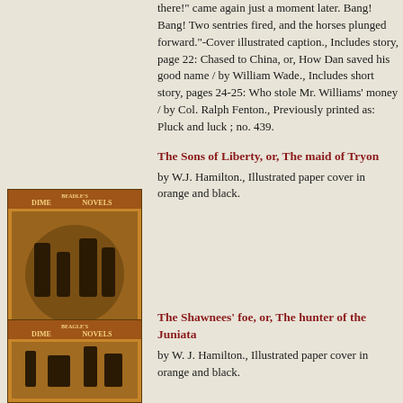there!" came again just a moment later. Bang! Bang! Two sentries fired, and the horses plunged forward."-Cover illustrated caption., Includes story, page 22: Chased to China, or, How Dan saved his good name / by William Wade., Includes short story, pages 24-25: Who stole Mr. Williams' money / by Col. Ralph Fenton., Previously printed as: Pluck and luck ; no. 439.
The Sons of Liberty, or, The maid of Tryon
by W.J. Hamilton., Illustrated paper cover in orange and black.
[Figure (illustration): Cover of Beadle's Dime Novels 'The Sons of Liberty' with orange and black illustrated paper cover showing figures]
[Figure (illustration): Cover of Beadle's Dime Novels 'The Shawnees' foe' with orange and black illustrated paper cover]
The Shawnees' foe, or, The hunter of the Juniata
by W. J. Hamilton., Illustrated paper cover in orange and black.